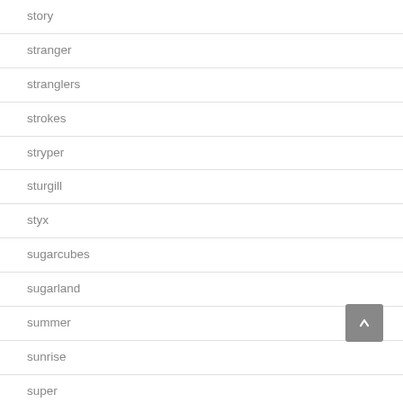story
stranger
stranglers
strokes
stryper
sturgill
styx
sugarcubes
sugarland
summer
sunrise
super